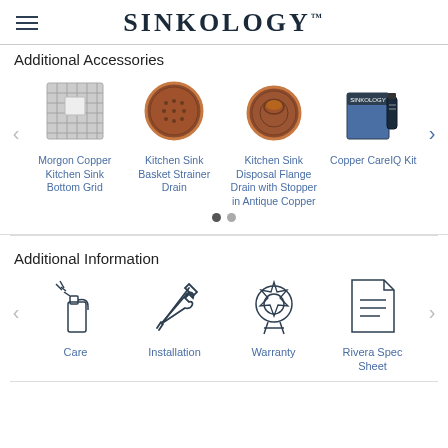SINKOLOGY
Additional Accessories
[Figure (screenshot): Carousel of 4 product accessories: Morgon Copper Kitchen Sink Bottom Grid (wire grid image), Kitchen Sink Basket Strainer Drain (copper drain image), Kitchen Sink Disposal Flange Drain with Stopper in Antique Copper (copper flange drain image), Copper CareIQ Kit (product kit box image). Navigation arrows on left and right. Two pagination dots below.]
Additional Information
[Figure (infographic): Row of 4 icons with labels: Care (spray bottle icon), Installation (wrench and screwdriver cross icon), Warranty (badge/seal icon), Rivera Spec Sheet (document icon). Navigation arrows on left and right.]